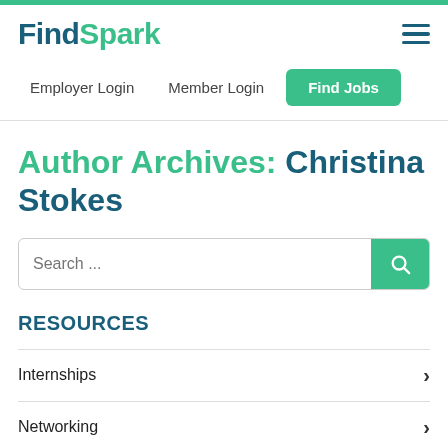FindSpark
Employer Login  Member Login  Find Jobs
Author Archives: Christina Stokes
Search ...
RESOURCES
Internships
Networking